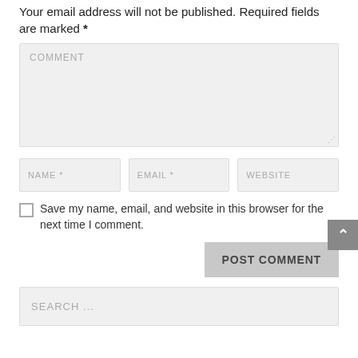Your email address will not be published. Required fields are marked *
[Figure (screenshot): Comment form textarea placeholder reading 'COMMENT']
[Figure (screenshot): Three input fields: NAME *, EMAIL *, WEBSITE]
Save my name, email, and website in this browser for the next time I comment.
[Figure (screenshot): POST COMMENT button and scroll-to-top arrow button]
[Figure (screenshot): Search box with placeholder SEARCH ...]